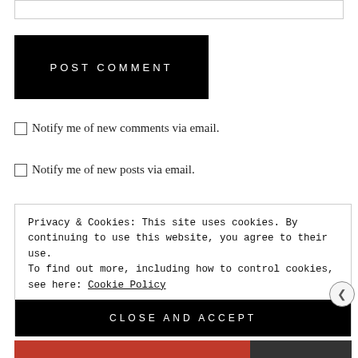[Figure (screenshot): Input text field (partially visible at top)]
[Figure (screenshot): Black POST COMMENT button]
Notify me of new comments via email.
Notify me of new posts via email.
Privacy & Cookies: This site uses cookies. By continuing to use this website, you agree to their use.
To find out more, including how to control cookies, see here: Cookie Policy
[Figure (screenshot): Black CLOSE AND ACCEPT button]